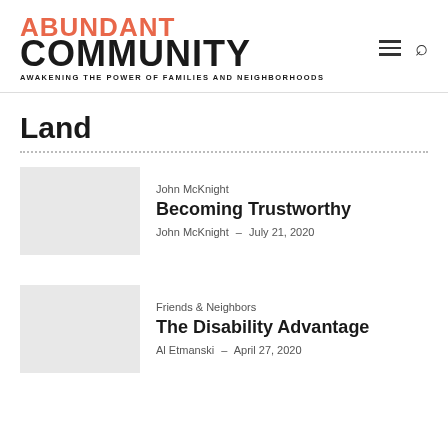ABUNDANT COMMUNITY — AWAKENING THE POWER OF FAMILIES AND NEIGHBORHOODS
Land
John McKnight
Becoming Trustworthy
John McKnight – July 21, 2020
Friends & Neighbors
The Disability Advantage
Al Etmanski – April 27, 2020